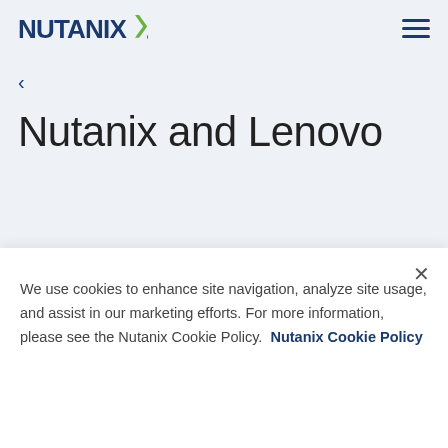NUTANIX [logo] | hamburger menu
<
Nutanix and Lenovo
We use cookies to enhance site navigation, analyze site usage, and assist in our marketing efforts. For more information, please see the Nutanix Cookie Policy.  Nutanix Cookie Policy